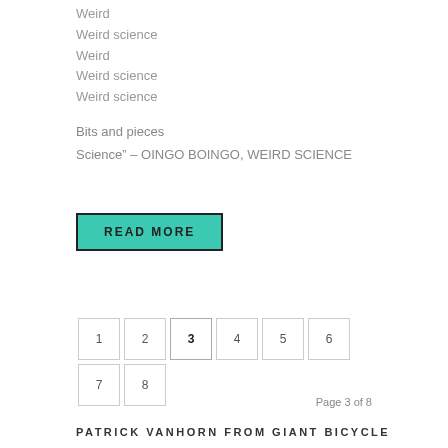Weird
Weird science
Weird
Weird science
Weird science
Bits and pieces
Science” – OINGO BOINGO, WEIRD SCIENCE
READ MORE
1 2 3 4 5 6 7 8
Page 3 of 8
PATRICK VANHORN FROM GIANT BICYCLE